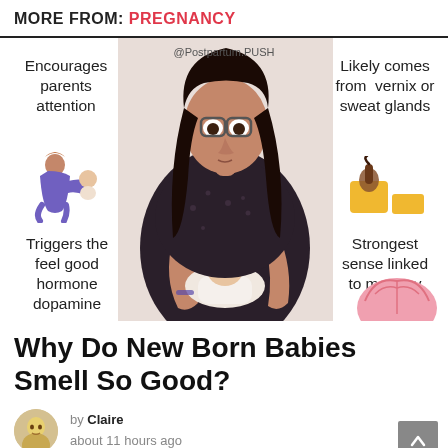MORE FROM: PREGNANCY
[Figure (infographic): Infographic about why newborn babies smell good. Center: photo of mother sniffing newborn baby. Left side: 'Encourages parents attention' with parent-holding-baby icon, 'Triggers the feel good hormone dopamine'. Right side: 'Likely comes from vernix or sweat glands' with hair follicle icon, 'Strongest sense linked to memory' with brain icon. Watermark: @Postpartum.PUSH]
Why Do New Born Babies Smell So Good?
by Claire
about 11 hours ago